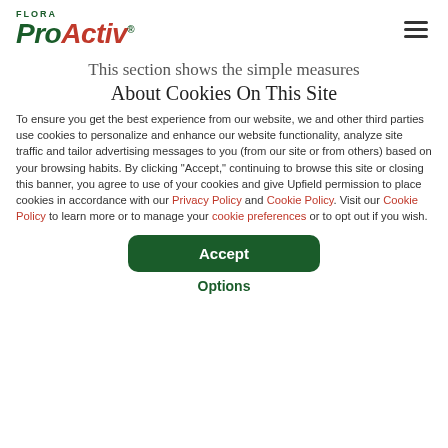FLORA ProActiv
This section shows the simple measures
About Cookies On This Site
To ensure you get the best experience from our website, we and other third parties use cookies to personalize and enhance our website functionality, analyze site traffic and tailor advertising messages to you (from our site or from others) based on your browsing habits. By clicking "Accept," continuing to browse this site or closing this banner, you agree to use of your cookies and give Upfield permission to place cookies in accordance with our Privacy Policy and Cookie Policy. Visit our Cookie Policy to learn more or to manage your cookie preferences or to opt out if you wish.
Accept
Options